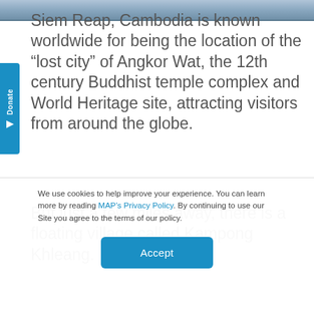[Figure (photo): Top image strip showing partial photograph]
Siem Reap, Cambodia is known worldwide for being the location of the “lost city” of Angkor Wat, the 12th century Buddhist temple complex and World Heritage site, attracting visitors from around the globe.
But just a few miles away, there is a floating village called Kampong Khleang.
We use cookies to help improve your experience. You can learn more by reading MAP’s Privacy Policy. By continuing to use our Site you agree to the terms of our policy.